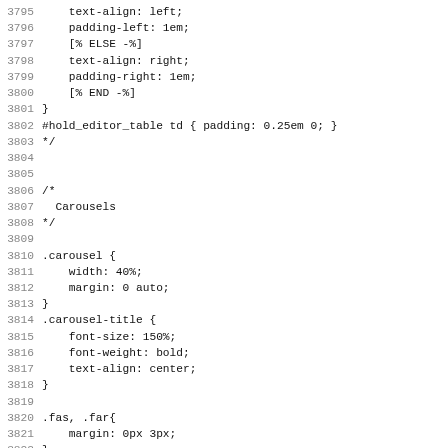Code listing lines 3795-3826, CSS source code snippet
3795     text-align: left;
3796     padding-left: 1em;
3797     [% ELSE -%]
3798     text-align: right;
3799     padding-right: 1em;
3800     [% END -%]
3801 }
3802 #hold_editor_table td { padding: 0.25em 0; }
3803 */
3804
3805
3806 /*
3807   Carousels
3808 */
3809
3810 .carousel {
3811     width: 40%;
3812     margin: 0 auto;
3813 }
3814 .carousel-title {
3815     font-size: 150%;
3816     font-weight: bold;
3817     text-align: center;
3818 }
3819
3820 .fas, .far{
3821     margin: 0px 3px;
3822 }
3823 .carousel-entry {
3824     max-width: 150px;
3825 }
3826 .carousel-entry-image {